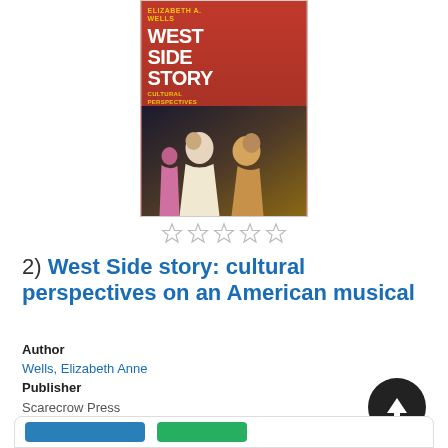[Figure (photo): Book cover for 'West Side Story: Cultural Perspectives on an American Musical' by Elizabeth A. Wells, showing two people facing each other with the title in large white text on a red background]
☆☆☆☆☆
2)  West Side story: cultural perspectives on an American musical
Author
Wells, Elizabeth Anne
Publisher
Scarecrow Press
Pub. Date
2011.
Language
English